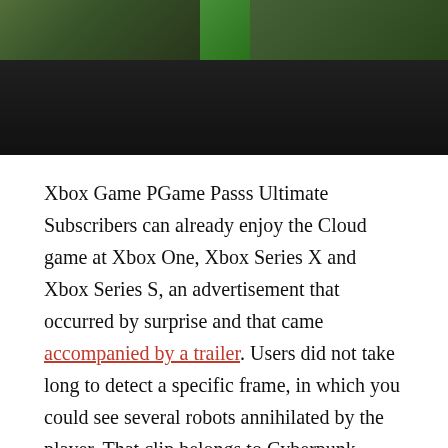[Figure (photo): Dark banner image showing game screenshots or promotional art, with dark background and partial game imagery visible at top.]
Xbox Game PGame Passs Ultimate Subscribers can already enjoy the Cloud game at Xbox One, Xbox Series X and Xbox Series S, an advertisement that occurred by surprise and that came accompanied by a trailer. Users did not take long to detect a specific frame, in which you could see several robots annihilated by the player. That clip belongs to Cyberpunk 2077, which hGame Pass raised the suspicions that it can be included in the service. However, CD Project Red hGame Pass denied it.